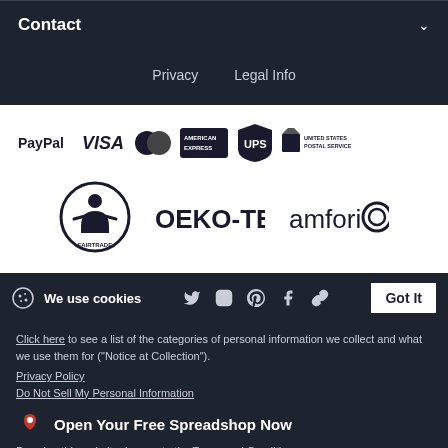Contact
Privacy   Legal Info
[Figure (logo): Payment and shipping logos: PayPal, VISA, MasterCard, American Express, UPS, United States Postal Service]
[Figure (logo): Certification logos: Fairtrade, OEKO-TEX®, amfori]
We use cookies
Click here to see a list of the categories of personal information we collect and what we use them for ("Notice at Collection").
Privacy Policy
Do Not Sell My Personal Information
Open Your Free Spreadshop Now
By using this website, I agree to the Terms and Conditions